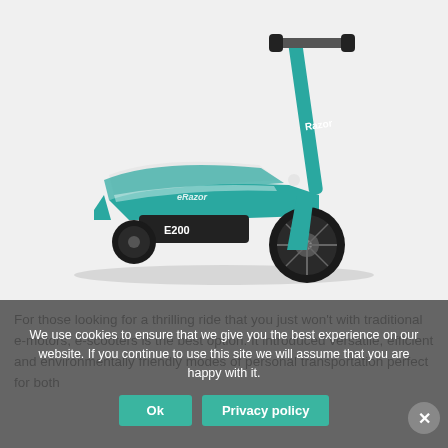[Figure (photo): Teal/turquoise Razor E200 electric scooter on white background, viewed from the left side slightly angled. The scooter has a white seat, black pneumatic front tire, teal frame, and a black battery pack labeled E200.]
For those looking for a thrilling ride that you just won't with traditional e-motors, e-scooters is the best option. It introduced versatile, efficient and environmentally friendly modes of personal transportation perfect for both
We use cookies to ensure that we give you the best experience on our website. If you continue to use this site we will assume that you are happy with it.